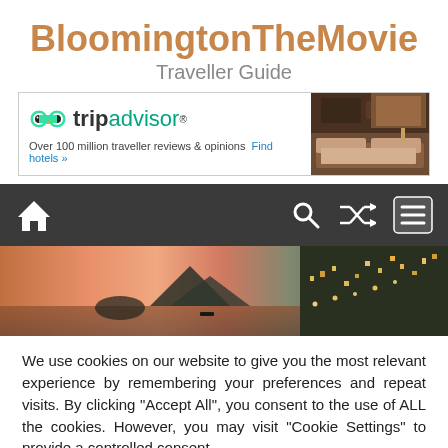BloomingtonTheMovie
Traveller Guide
[Figure (other): TripAdvisor advertisement banner: owl logo, tripadvisor text, tagline 'Over 100 million traveller reviews & opinions', 'Find hotels »' link, hotel room image on right]
[Figure (other): Dark navigation bar with home icon (left), search icon, shuffle icon, and menu/hamburger icon (right)]
[Figure (photo): Panoramic hero banner photo showing a coastal scene with mountains/islands silhouetted against a pink/orange sunset sky on the left, and a lit city hillside at night on the right]
We use cookies on our website to give you the most relevant experience by remembering your preferences and repeat visits. By clicking "Accept All", you consent to the use of ALL the cookies. However, you may visit "Cookie Settings" to provide a controlled consent.
Cookie Settings | Accept All